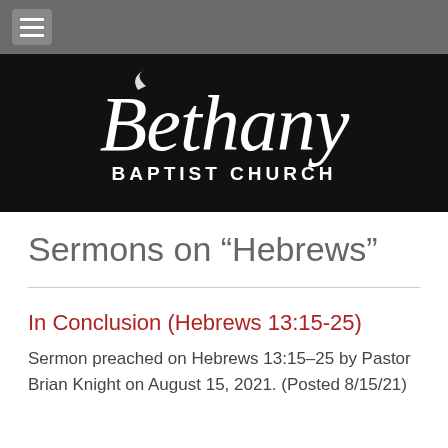[Figure (logo): Bethany Baptist Church logo — white script 'Bethany' above white bold sans-serif 'BAPTIST CHURCH' on black background]
Sermons on “Hebrews”
In Conclusion (Hebrews 13:15-25)
Sermon preached on Hebrews 13:15–25 by Pastor Brian Knight on August 15, 2021. (Posted 8/15/21)